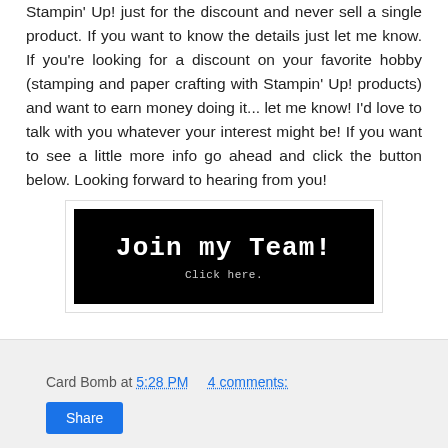Stampin' Up! just for the discount and never sell a single product. If you want to know the details just let me know. If you're looking for a discount on your favorite hobby (stamping and paper crafting with Stampin' Up! products) and want to earn money doing it... let me know! I'd love to talk with you whatever your interest might be! If you want to see a little more info go ahead and click the button below. Looking forward to hearing from you!
[Figure (other): Black banner with white typewriter-font text reading 'Join my Team!' and smaller text 'Click here.' below]
If you'd
Card Bomb at 5:28 PM   4 comments: